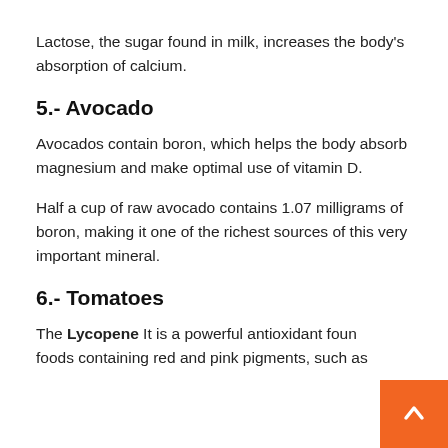Lactose, the sugar found in milk, increases the body's absorption of calcium.
5.- Avocado
Avocados contain boron, which helps the body absorb magnesium and make optimal use of vitamin D.
Half a cup of raw avocado contains 1.07 milligrams of boron, making it one of the richest sources of this very important mineral.
6.- Tomatoes
The Lycopene It is a powerful antioxidant found in foods containing red and pink pigments, such as